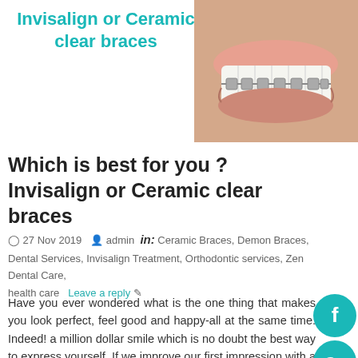Invisalign or Ceramic clear braces
[Figure (photo): Close-up photo of a person smiling showing teeth with ceramic/metal braces]
Which is best for you ? Invisalign or Ceramic clear braces
27 Nov 2019  admin  in: Ceramic Braces, Demon Braces, Dental Services, Invisalign Treatment, Orthodontic services, Zen Dental Care, health care  Leave a reply
Have you ever wondered what is the one thing that makes you look perfect, feel good and happy-all at the same time. Indeed! a million dollar smile which is no doubt the best way to express yourself. If we improve our first impression with a smile, it is true that we can leave a lasting [...]
[Figure (other): Social media icons column: Facebook, Google+, Instagram, LinkedIn, YouTube — teal circular icons on right side]